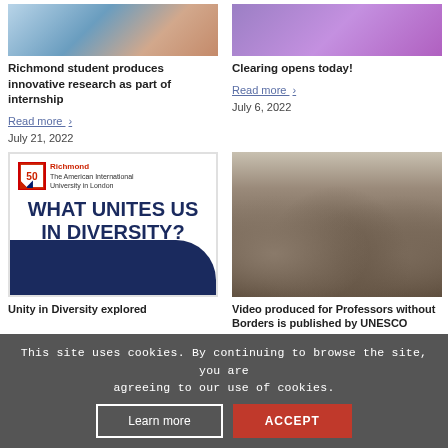[Figure (photo): Top-left cropped photo showing a person, partial view]
[Figure (photo): Top-right cropped photo with purple/violet gradient background]
Richmond student produces innovative research as part of internship
Read more >
July 21, 2022
Clearing opens today!
Read more >
July 6, 2022
[Figure (photo): Richmond The American International University in London 50 years logo with text WHAT UNITES US IN DIVERSITY? on white card with dark navy triangle in corner]
[Figure (photo): Group photo of many people seated and standing in rows outdoors, with a banner/sign behind them]
Unity in Diversity explored
Video produced for Professors without Borders is published by UNESCO
This site uses cookies. By continuing to browse the site, you are agreeing to our use of cookies.
Learn more
ACCEPT